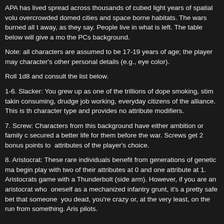APA has lived spread across thousands of cubed light years of spatial volume, overcrowded domed cities and space borne habitats. The wars burned all the way, as they say. People live in what is left. The table below will give a more the PCs background.
Note: all characters are assumed to be 17-19 years of age; the player may character's other personal details (e.g., eye color).
Roll 1d8 and consult the list below.
1-6. Slacker: You grew up as one of the trillions of dope smoking, stim taking, consuming, drudge job working, everyday citizens of the alliance. This is the character type and provides no attribute modifiers.
7. Screw: Characters from this background have either ambition or family c secured a better life for them before the war. Screws get 2 bonus points to attributes of the player's choice.
8. Aristocrat: These rare individuals benefit from generations of genetic ma begin play with two of their attributes at 0 and one attribute at 1. Aristocrats game with a Thunderbolt (side arm). However, if you are an aristocrat who oneself as a mechanized infantry grunt, it's a pretty safe bet that someone you dead, you're crazy or, at the very least, on the run from something. Aris pilots.